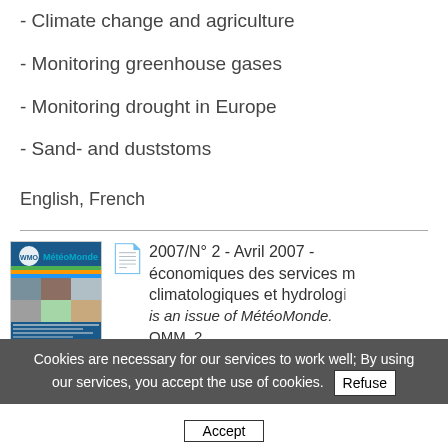- Climate change and agriculture
- Monitoring greenhouse gases
- Monitoring drought in Europe
- Sand- and duststoms
English, French
[Figure (illustration): Thumbnail cover image of MétéoMonde journal]
2007/N° 2 - Avril 2007 - économiques des services météorologiques climatologiques et hydrologiques is an issue of MétéoMonde. OMM, 2
Cookies are necessary for our services to work well; By using our services, you accept the use of cookies. Refuse
Accept
French, English